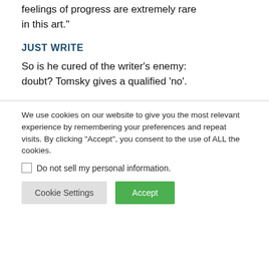feelings of progress are extremely rare in this art."
JUST WRITE
So is he cured of the writer's enemy: doubt? Tomsky gives a qualified ‘no’.
We use cookies on our website to give you the most relevant experience by remembering your preferences and repeat visits. By clicking “Accept”, you consent to the use of ALL the cookies.
Do not sell my personal information.
Cookie Settings
Accept